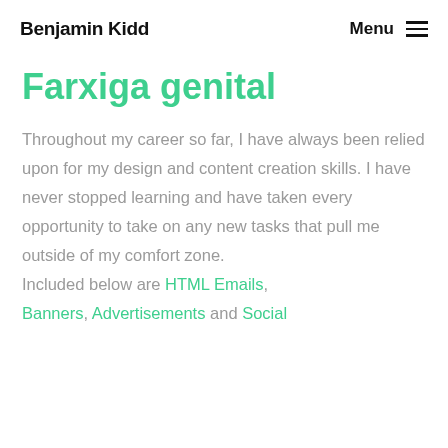Benjamin Kidd   Menu ≡
Farxiga genital
Throughout my career so far, I have always been relied upon for my design and content creation skills. I have never stopped learning and have taken every opportunity to take on any new tasks that pull me outside of my comfort zone. Included below are HTML Emails, Banners, Advertisements and Social